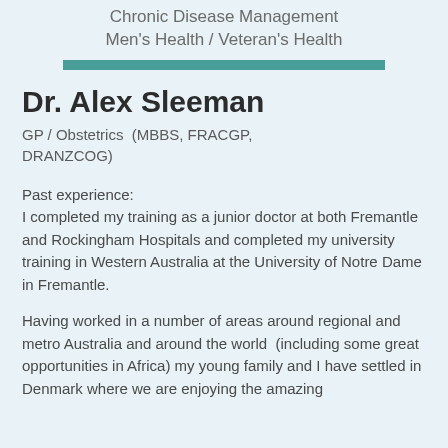Chronic Disease Management
Men's Health / Veteran's Health
Dr. Alex Sleeman
GP / Obstetrics  (MBBS, FRACGP, DRANZCOG)
Past experience:
I completed my training as a junior doctor at both Fremantle and Rockingham Hospitals and completed my university training in Western Australia at the University of Notre Dame in Fremantle.
Having worked in a number of areas around regional and metro Australia and around the world  (including some great opportunities in Africa) my young family and I have settled in Denmark where we are enjoying the amazing